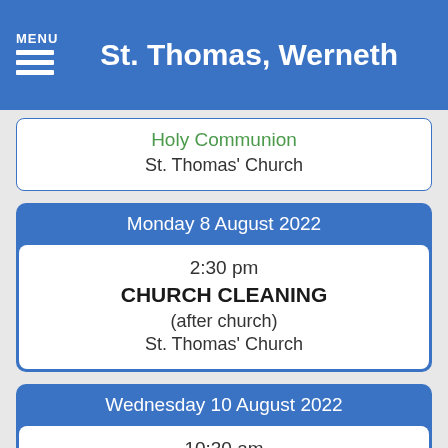MENU | St. Thomas, Werneth
Holy Communion
St. Thomas' Church
Monday 8 August 2022
2:30 pm
CHURCH CLEANING
(after church)
St. Thomas' Church
Wednesday 10 August 2022
10:30 am
HOLY COMMMUNION
(Book of Common Prayer)